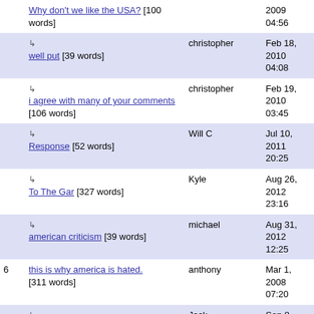| # | Title | Author | Date |
| --- | --- | --- | --- |
|  | ↳ well put [39 words] | christopher | Feb 18, 2010 04:08 |
|  | ↳ i agree with many of your comments [106 words] | christopher | Feb 19, 2010 03:45 |
|  | ↳ Response [52 words] | Will C | Jul 10, 2011 20:25 |
|  | ↳ To The Gar [327 words] | Kyle | Aug 26, 2012 23:16 |
|  | ↳ american criticism [39 words] | michael | Aug 31, 2012 12:25 |
| 6 | this is why america is hated. [311 words] | anthony | Mar 1, 2008 07:20 |
|  | ↳ Just leave then..? [29 words] | Jack | Sep 8, 2010 21:37 |
|  | Sadness [59 words] | Rob Riedijk | Dec |